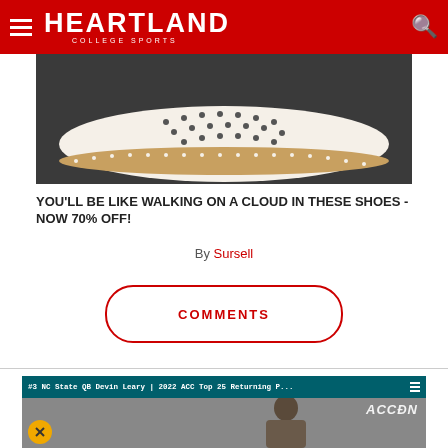Heartland College Sports
[Figure (photo): Close-up photo of a white perforated casual shoe/moccasin with tan/cork sole on dark background]
YOU'LL BE LIKE WALKING ON A CLOUD IN THESE SHOES - NOW 70% OFF!
By Sursell
COMMENTS
[Figure (screenshot): Video player showing #3 NC State QB Devin Leary | 2022 ACC Top 25 Returning P... with ACC Digital Network logo and mute button overlay]